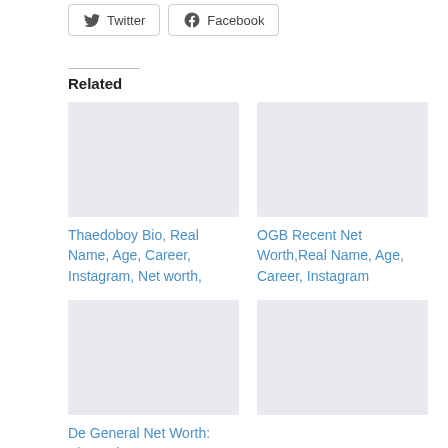[Figure (other): Twitter share button with bird icon]
[Figure (other): Facebook share button with Facebook icon]
Related
[Figure (photo): Placeholder image for Thaedoboy article]
Thaedoboy Bio, Real Name, Age, Career, Instagram, Net worth,
[Figure (photo): Placeholder image for OGB Recent article]
OGB Recent Net Worth,Real Name, Age, Career, Instagram
[Figure (photo): Placeholder image for De General article]
De General Net Worth: Biography, Age, Career, Girlfriend, Instagram, New House